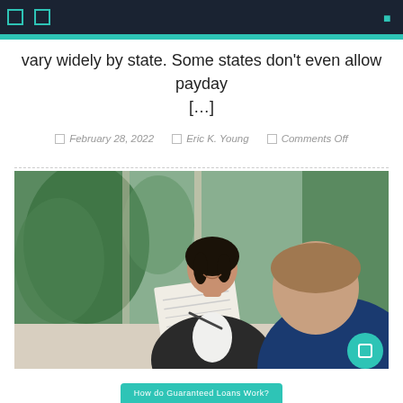Navigation bar with icons
vary widely by state. Some states don't even allow payday [...]
February 28, 2022   Eric K. Young   Comments Off
[Figure (photo): A smiling woman in a business jacket holding documents across a table from a man in a dark blue shirt, in what appears to be a financial consultation or loan discussion meeting. Background shows large windows with greenery outside.]
How do Guaranteed Loans Work?